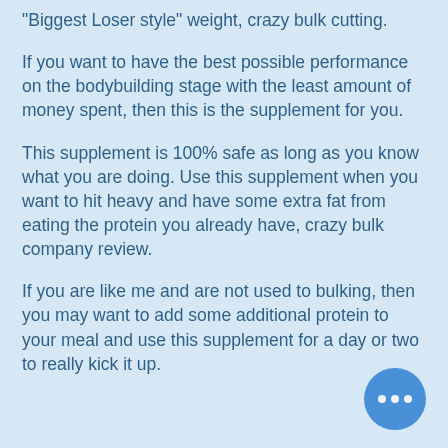"Biggest Loser style" weight, crazy bulk cutting.
If you want to have the best possible performance on the bodybuilding stage with the least amount of money spent, then this is the supplement for you.
This supplement is 100% safe as long as you know what you are doing. Use this supplement when you want to hit heavy and have some extra fat from eating the protein you already have, crazy bulk company review.
If you are like me and are not used to bulking, then you may want to add some additional protein to your meal and use this supplement for a day or two to really kick it up.